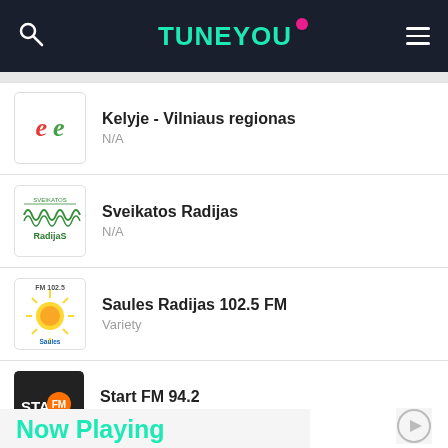TUNEYOU
Kelyje - Vilniaus regionas
N/A
Sveikatos Radijas
N/A
Saules Radijas 102.5 FM
Variety
Start FM 94.2
Variety
Kelyje - Klaipedos regionas
N/A
Now Playing